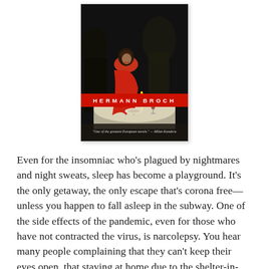[Figure (illustration): Book cover of a Hermann Broch novel featuring a painting of figures at a dinner table, woman in red shawl prominent. A red banner across the lower portion reads 'HERMANN BROCH' in white spaced letters. Below the image a quote reads: 'One of the greatest European novels.' — Milan Kundera]
Even for the insomniac who's plagued by nightmares and night sweats, sleep has become a playground. It's the only getaway, the only escape that's corona free—unless you happen to fall asleep in the subway. One of the side effects of the pandemic, even for those who have not contracted the virus, is narcolepsy. You hear many people complaining that they can't keep their eyes open, that staying at home due to the shelter-in-place mandates, they sleep all day and can't wait to get to bed at night. Sleep